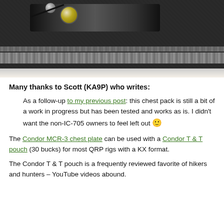[Figure (photo): Close-up photo of a black tactical/military-style chest pack bag with zipper, containing radio equipment including a knob and cables]
Many thanks to Scott (KA9P) who writes:
As a follow-up to my previous post: this chest pack is still a bit of a work in progress but has been tested and works as is. I didn't want the non-IC-705 owners to feel left out 🙂
The Condor MCR-3 chest plate can be used with a Condor T & T pouch (30 bucks) for most QRP rigs with a KX format.
The Condor T & T pouch is a frequently reviewed favorite of hikers and hunters – YouTube videos abound.